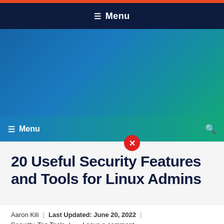☰ Menu
[Figure (screenshot): Blue-teal banner/advertisement area]
☰ Menu  🔍
Advertisement - syukre...
20 Useful Security Features and Tools for Linux Admins
Aaron Kili | Last Updated: June 20, 2022 | Security, Top Tools | Leave a comment